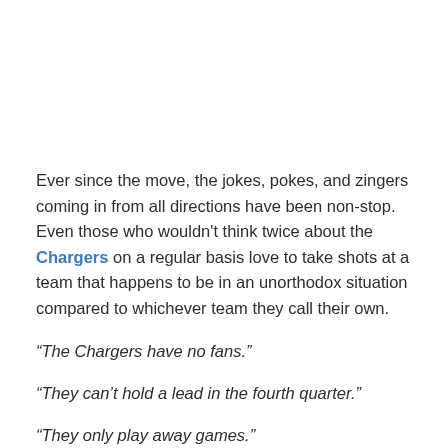Ever since the move, the jokes, pokes, and zingers coming in from all directions have been non-stop. Even those who wouldn't think twice about the Chargers on a regular basis love to take shots at a team that happens to be in an unorthodox situation compared to whichever team they call their own.
“The Chargers have no fans.”
“They can’t hold a lead in the fourth quarter.”
“They only play away games.”